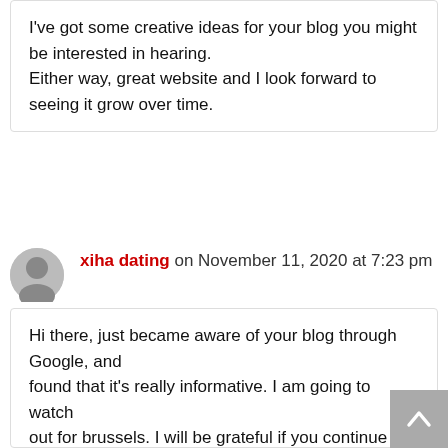I've got some creative ideas for your blog you might be interested in hearing. Either way, great website and I look forward to seeing it grow over time.
xiha dating on November 11, 2020 at 7:23 pm
Hi there, just became aware of your blog through Google, and found that it's really informative. I am going to watch out for brussels. I will be grateful if you continue this in future.